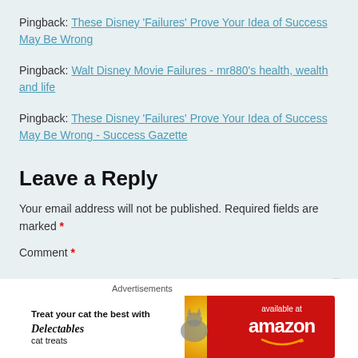Pingback: These Disney 'Failures' Prove Your Idea of Success May Be Wrong
Pingback: Walt Disney Movie Failures - mr880's health, wealth and life
Pingback: These Disney 'Failures' Prove Your Idea of Success May Be Wrong - Success Gazette
Leave a Reply
Your email address will not be published. Required fields are marked *
Comment *
[Figure (other): Advertisement banner for Delectables cat treats available at amazon]